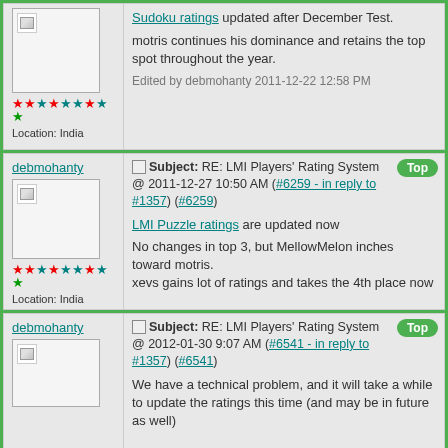Sudoku ratings updated after December Test. motris continues his dominance and retains the top spot throughout the year. Edited by debmohanty 2011-12-22 12:58 PM
debmohanty — Subject: RE: LMI Players' Rating System @ 2011-12-27 10:50 AM (#6259 - in reply to #1357) (#6259) — LMI Puzzle ratings are updated now. No changes in top 3, but MellowMelon inches toward motris. xevs gains lot of ratings and takes the 4th place now
debmohanty — Subject: RE: LMI Players' Rating System @ 2012-01-30 9:07 AM (#6541 - in reply to #1357) (#6541) — We have a technical problem, and it will take a while to update the ratings this time (and may be in future as well)